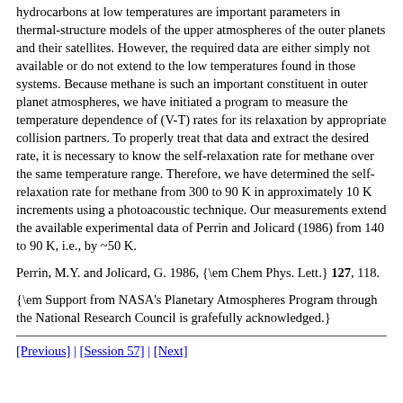hydrocarbons at low temperatures are important parameters in thermal-structure models of the upper atmospheres of the outer planets and their satellites. However, the required data are either simply not available or do not extend to the low temperatures found in those systems. Because methane is such an important constituent in outer planet atmospheres, we have initiated a program to measure the temperature dependence of (V-T) rates for its relaxation by appropriate collision partners. To properly treat that data and extract the desired rate, it is necessary to know the self-relaxation rate for methane over the same temperature range. Therefore, we have determined the self-relaxation rate for methane from 300 to 90 K in approximately 10 K increments using a photoacoustic technique. Our measurements extend the available experimental data of Perrin and Jolicard (1986) from 140 to 90 K, i.e., by ~50 K.
Perrin, M.Y. and Jolicard, G. 1986, {\em Chem Phys. Lett.} 127, 118.
{\em Support from NASA's Planetary Atmospheres Program through the National Research Council is grafefully acknowledged.}
[Previous] | [Session 57] | [Next]